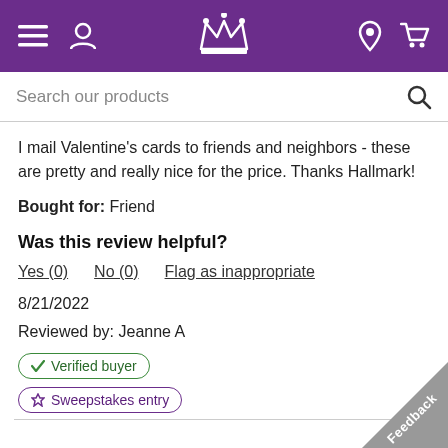Hallmark mobile website header with navigation icons: menu, user, crown logo, location, cart
Search our products
I mail Valentine's cards to friends and neighbors - these are pretty and really nice for the price. Thanks Hallmark!
Bought for: Friend
Was this review helpful?
Yes (0)   No (0)   Flag as inappropriate
8/21/2022
Reviewed by: Jeanne A
✔ Verified buyer
🏷 Sweepstakes entry